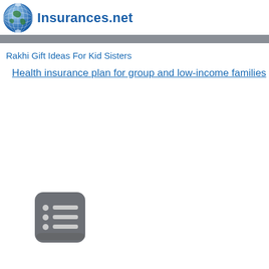Insurances.net
Rakhi Gift Ideas For Kid Sisters
Health insurance plan for group and low-income families
[Figure (illustration): A dark gray rounded rectangle icon containing three horizontal list items with bullet points, resembling a list/menu icon]